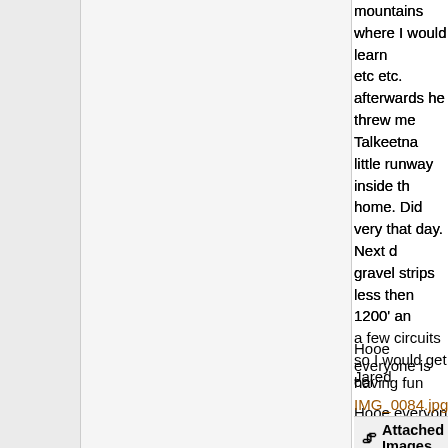mountains where I would learn etc etc. afterwards he threw me Talkeetna little runway inside the home. Did very that day. Next d gravel strips less then 1200' an a few circuits so I would get co gravel bar landings, two highwa Thundra!! Afterwards I was che next day Don taken me up hims shelter he built on a glacier. Ga What learning curve to land on check out his cabin. After all tha Breezy!! For next couple days I some advanced float flying with Disappointed as Don told me. N Heavy Controls, climb and take. Just the cruise was improved by week took a flight in a tri-Pacer Seattle waiting for my next plan get home all post some pictures
Hooe everyone is having fun
Jared
IMG_0084.jpg
Attached Images
IMG_0174.jpg (94.0 KB)